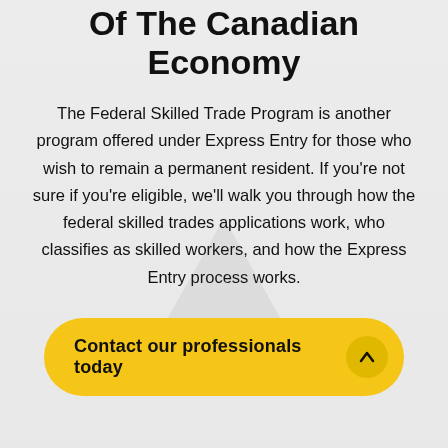Of The Canadian Economy
The Federal Skilled Trade Program is another program offered under Express Entry for those who wish to remain a permanent resident. If you're not sure if you're eligible, we'll walk you through how the federal skilled trades applications work, who classifies as skilled workers, and how the Express Entry process works.
Contact our professionals today